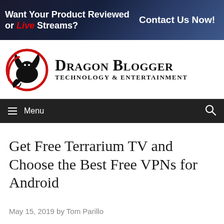[Figure (infographic): Banner advertisement: 'Want Your Product Reviewed or Live Streams? Contact Us Now!' Dark blue/space background with white bold text and red italic 'Live' text.]
[Figure (logo): Dragon Blogger Technology & Entertainment logo. Red circular dragon illustration on the left. Site name 'Dragon Blogger' in large bold serif text, 'Technology & Entertainment' subtitle below.]
≡ Menu
Get Free Terrarium TV and Choose the Best Free VPNs for Android
May 15, 2019 by Tom Parillo